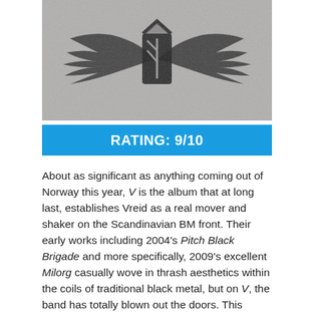[Figure (illustration): Black and white album art showing a winged emblem with a runic character in the center, on a textured grey background. This is the album cover for Vreid's 'V'.]
RATING: 9/10
About as significant as anything coming out of Norway this year, V is the album that at long last, establishes Vreid as a real mover and shaker on the Scandinavian BM front. Their early works including 2004's Pitch Black Brigade and more specifically, 2009's excellent Milorg casually wove in thrash aesthetics within the coils of traditional black metal, but on V, the band has totally blown out the doors. This album is going to evaporate a lot of things in its path.
By employing a distinct thrash edge, Vreid is able to make their black metal more cold and catchy.